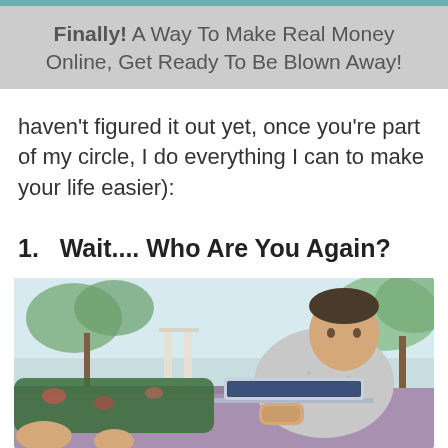Finally! A Way To Make Real Money Online, Get Ready To Be Blown Away!
haven't figured it out yet, once you're part of my circle, I do everything I can to make your life easier):
1. Wait.... Who Are You Again?
[Figure (photo): A man with tattoos wearing a grey t-shirt and floral shorts, reclining outdoors on a purple surface, working on a laptop. A tropical background with palm trees and a bright sky is visible behind him.]